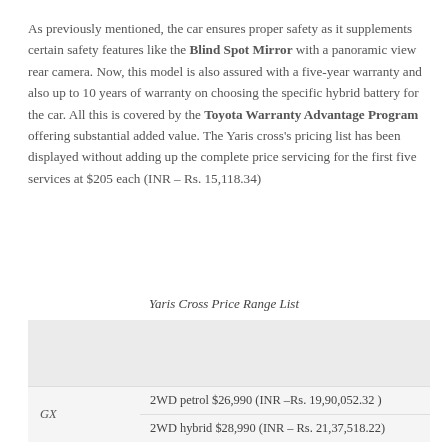As previously mentioned, the car ensures proper safety as it supplements certain safety features like the Blind Spot Mirror with a panoramic view rear camera. Now, this model is also assured with a five-year warranty and also up to 10 years of warranty on choosing the specific hybrid battery for the car. All this is covered by the Toyota Warranty Advantage Program offering substantial added value. The Yaris cross's pricing list has been displayed without adding up the complete price servicing for the first five services at $205 each (INR – Rs. 15,118.34)
Yaris Cross Price Range List
|  |  |
| --- | --- |
| GX | 2WD petrol $26,990 (INR –Rs. 19,90,052.32 ) |
| GX | 2WD hybrid $28,990 (INR – Rs. 21,37,518.22) |